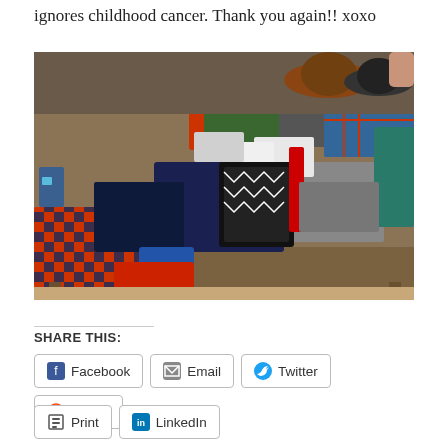ignores childhood cancer. Thank you again!! xoxo
[Figure (photo): A large bed or table covered with many folded and spread out clothing items — shirts, pants, sweaters in various colors including navy, red, orange, gray, green, and plaid patterns. Hats visible in background.]
SHARE THIS:
Facebook
Email
Twitter
Reddit
Print
LinkedIn